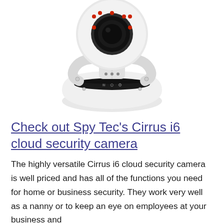[Figure (photo): A white pan-tilt IP security camera with a round base, camera head with red LED ring, and dark sensor panel. The camera is photographed on a white background.]
Check out Spy Tec's Cirrus i6 cloud security camera
The highly versatile Cirrus i6 cloud security camera is well priced and has all of the functions you need for home or business security. They work very well as a nanny or to keep an eye on employees at your business and